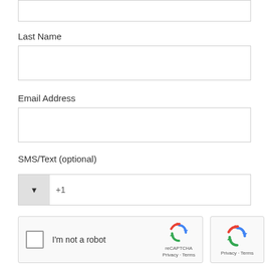[Figure (screenshot): Partial top input field (cut off at top of page)]
Last Name
[Figure (screenshot): Last Name input text field (empty)]
Email Address
[Figure (screenshot): Email Address input text field (empty)]
SMS/Text (optional)
[Figure (screenshot): Phone number input with country code dropdown showing +1]
[Figure (screenshot): reCAPTCHA widget with checkbox and 'I'm not a robot' text]
[Figure (screenshot): Partial second reCAPTCHA widget showing Privacy - Terms]